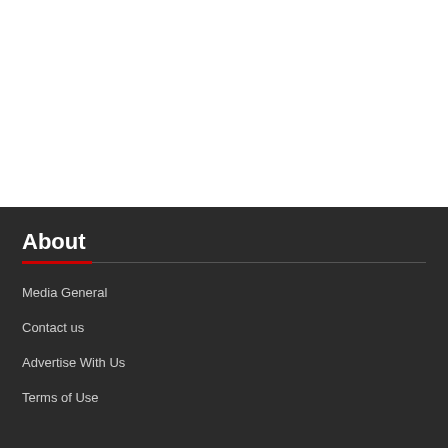About
Media General
Contact us
Advertise With Us
Terms of Use